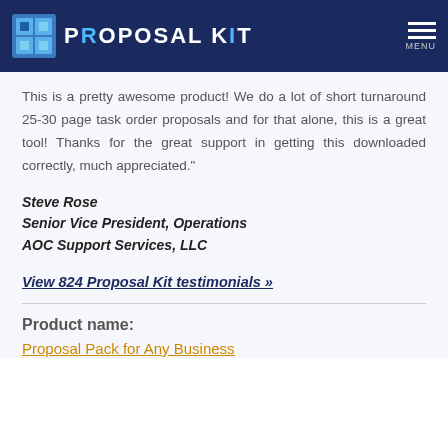Proposal Kit
This is a pretty awesome product! We do a lot of short turnaround 25-30 page task order proposals and for that alone, this is a great tool! Thanks for the great support in getting this downloaded correctly, much appreciated."
Steve Rose
Senior Vice President, Operations
AOC Support Services, LLC
View 824 Proposal Kit testimonials »
Product name:
Proposal Pack for Any Business